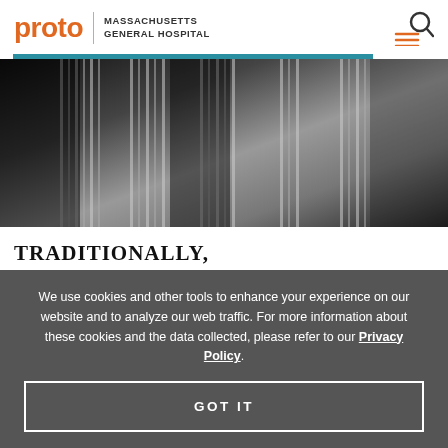proto | MASSACHUSETTS GENERAL HOSPITAL
[Figure (photo): Black and white photograph showing close-up of striped fabric or similar textile pattern in grayscale tones]
TRADITIONALLY,
We use cookies and other tools to enhance your experience on our website and to analyze our web traffic. For more information about these cookies and the data collected, please refer to our Privacy Policy.
GOT IT